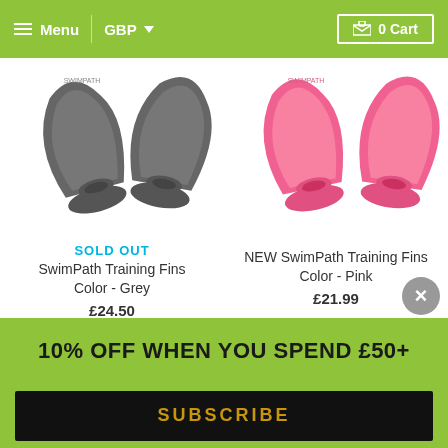Menu | GBP | 0 Cart
[Figure (photo): Grey swimming training fins product photo]
SOLD OUT
SwimPath Training Fins Color - Grey
£24.50
[Figure (photo): Pink swimming training fins product photo]
NEW SwimPath Training Fins
Color - Pink
£21.99
[Figure (photo): Blue swimming training fins product photo]
[Figure (photo): Multicolor swim shoes product photo]
10% OFF WHEN YOU SPEND £50+
SUBSCRIBE